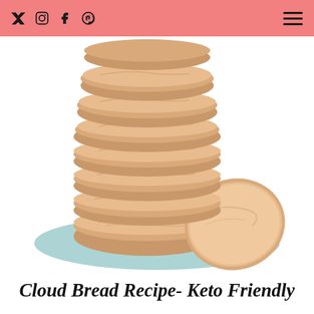Twitter Instagram Facebook Pinterest [hamburger menu]
[Figure (photo): Stack of cloud bread rounds (approximately 7 stacked) on a light blue plate, with one piece leaning against the stack, on a white background.]
Cloud Bread Recipe- Keto Friendly